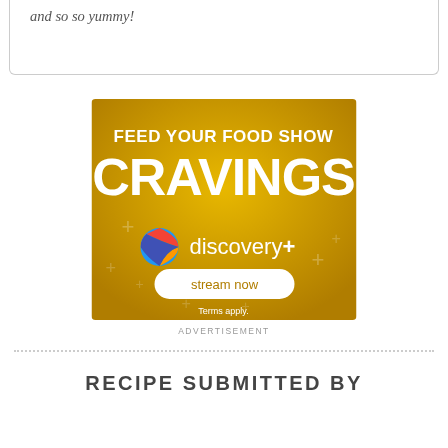and so so yummy!
[Figure (advertisement): Discovery+ streaming service advertisement with golden background. Text reads: FEED YOUR FOOD SHOW CRAVINGS, discovery+ logo with colorful sphere icon, stream now button, Terms apply.]
ADVERTISEMENT
RECIPE SUBMITTED BY